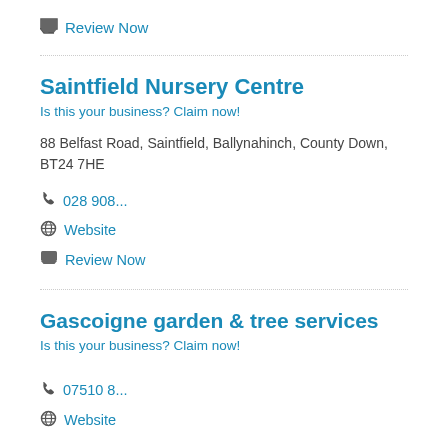Review Now
Saintfield Nursery Centre
Is this your business? Claim now!
88 Belfast Road, Saintfield, Ballynahinch, County Down, BT24 7HE
028 908...
Website
Review Now
Gascoigne garden & tree services
Is this your business? Claim now!
07510 8...
Website